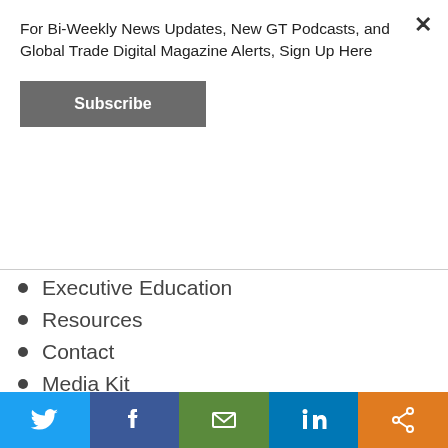For Bi-Weekly News Updates, New GT Podcasts, and Global Trade Digital Magazine Alerts, Sign Up Here
Subscribe
Executive Education
Resources
Contact
Media Kit
Careers
Events
Sitemap
CATEGORIES
[Figure (other): America's 50 Leading advertisement banner with logo and text about Third-Party Logistics Providers]
[Figure (other): Social media share bar with Twitter, Facebook, Email, LinkedIn, and Share buttons]